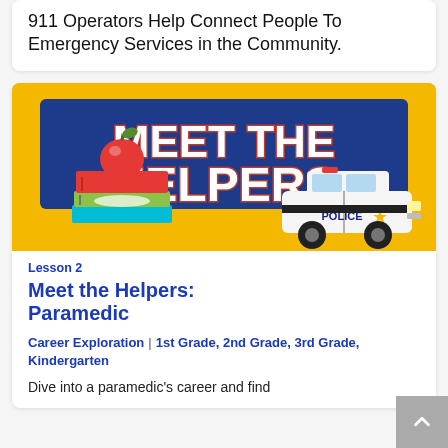911 Operators Help Connect People To Emergency Services in the Community.
[Figure (illustration): Meet the Helpers educational graphic showing cartoon books with an apple on top and a police car on a yellow background with a dark blue banner reading MEET THE HELPERS]
Lesson 2
Meet the Helpers: Paramedic
Career Exploration | 1st Grade, 2nd Grade, 3rd Grade, Kindergarten
Dive into a paramedic's career and find